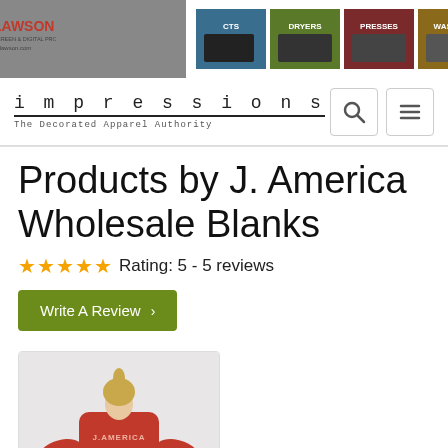[Figure (photo): Lawson Screen & Digital Products advertisement banner with logo, website URL golawson.com, and product images for CTS, Dryers, Presses, Washout]
impressions
The Decorated Apparel Authority
Products by J. America Wholesale Blanks
Rating: 5 - 5 reviews
Write A Review >
[Figure (photo): Person wearing a red J. America sweatshirt seen from behind, with blonde hair in a ponytail]